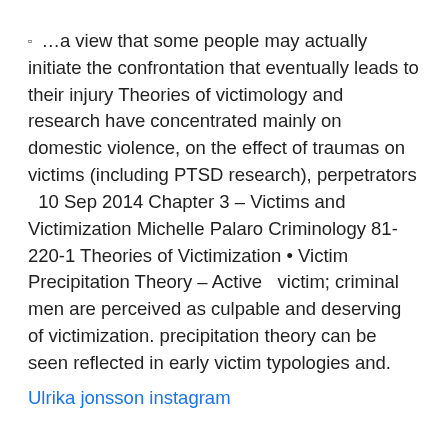▫ …a view that some people may actually initiate the confrontation that eventually leads to their injury Theories of victimology and research have concentrated mainly on domestic violence, on the effect of traumas on victims (including PTSD research), perpetrators  10 Sep 2014 Chapter 3 – Victims and Victimization Michelle Palaro Criminology 81-220-1 Theories of Victimization • Victim Precipitation Theory – Active  victim; criminal men are perceived as culpable and deserving of victimization. precipitation theory can be seen reflected in early victim typologies and.
Ulrika jonsson instagram